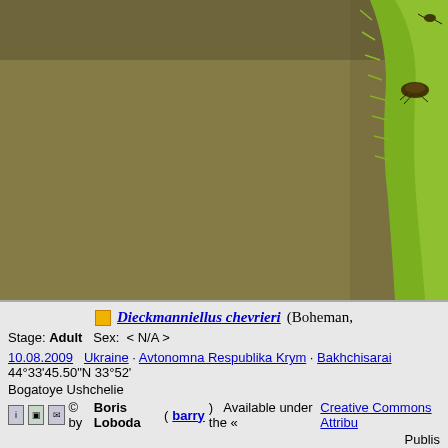[Figure (photo): Macro photograph of a beetle on a green plant stem against a brown/olive background. The insect (Dieckmanniellus chevrieri) is visible on the right side clinging to a fuzzy green stem.]
Dieckmanniellus chevrieri (Boheman,
Stage: Adult   Sex: < N/A >
10.08.2009  Ukraine · Avtonomna Respublika Krym · Bakhchisarai  44°33'45.50"N 33°52'
Bogatoye Ushchelie
© by Boris Loboda (barry)  Available under the «Creative Commons Attribu
Identification keys: Coleoptera
More images of this object - 3:
[Figure (photo): Thumbnail 1: beetle on green background]
[Figure (photo): Thumbnail 2: beetle close-up on green]
[Figure (photo): Thumbnail 3: beetle on light background (highlighted with red border)]